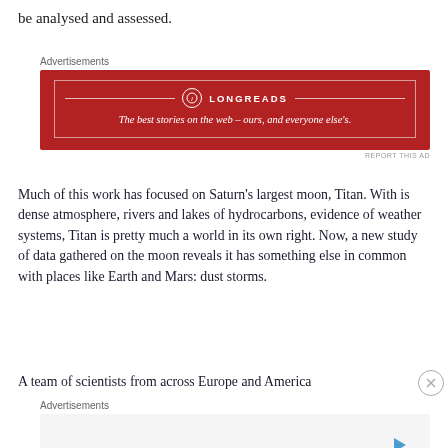be analysed and assessed.
[Figure (other): Longreads advertisement banner: red background with white border, Longreads logo and tagline 'The best stories on the web – ours, and everyone else's.']
Much of this work has focused on Saturn's largest moon, Titan. With is dense atmosphere, rivers and lakes of hydrocarbons, evidence of weather systems, Titan is pretty much a world in its own right. Now, a new study of data gathered on the moon reveals it has something else in common with places like Earth and Mars: dust storms.
A team of scientists from across Europe and America
[Figure (other): Bottom advertisement area with gray background and play button icon.]